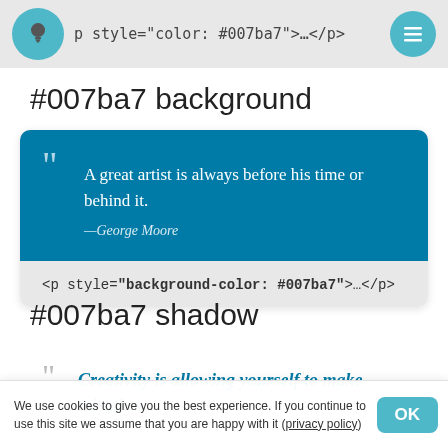p style="color: #007ba7">…</p>
#007ba7 background
[Figure (other): Blockquote card with teal (#007ba7) background showing quote: "A great artist is always before his time or behind it." — George Moore, with code footer: <p style="background-color: #007ba7">…</p>]
#007ba7 shadow
Creativity is allowing yourself to make mistakes.
We use cookies to give you the best experience. If you continue to use this site we assume that you are happy with it (privacy policy)